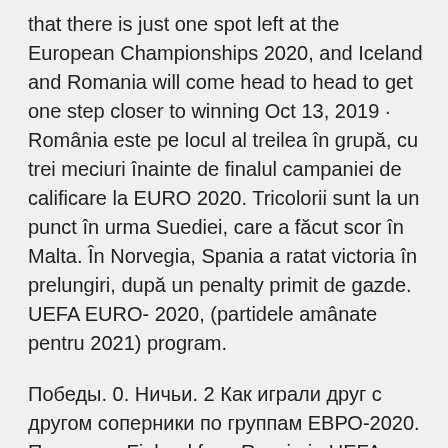that there is just one spot left at the European Championships 2020, and Iceland and Romania will come head to head to get one step closer to winning Oct 13, 2019 · România este pe locul al treilea în grupă, cu trei meciuri înainte de finalul campaniei de calificare la EURO 2020. Tricolorii sunt la un punct în urma Suediei, care a făcut scor în Malta. În Norvegia, Spania a ratat victoria în prelungiri, după un penalty primit de gazde. UEFA EURO- 2020, (partidele amânate pentru 2021) program.
Победы. 0. Ничьи. 2 Как играли друг с другом соперники по группам ЕВРО-2020. Почти все Finland face Russia in UEFA EURO 2020 Group B – all you need to know. Получите отличные билеты на Finland vs Russia - UEFA Euro 2020 16/06/ 2021 по